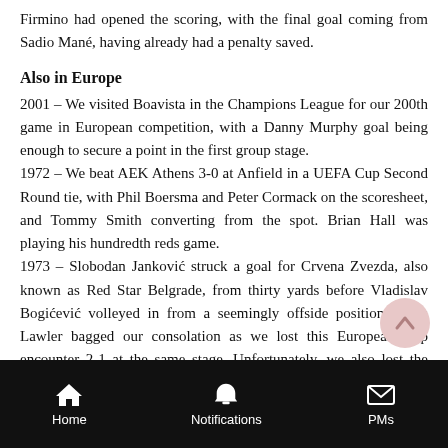Firmino had opened the scoring, with the final goal coming from Sadio Mané, having already had a penalty saved.
Also in Europe
2001 – We visited Boavista in the Champions League for our 200th game in European competition, with a Danny Murphy goal being enough to secure a point in the first group stage.
1972 – We beat AEK Athens 3-0 at Anfield in a UEFA Cup Second Round tie, with Phil Boersma and Peter Cormack on the scoresheet, and Tommy Smith converting from the spot. Brian Hall was playing his hundredth reds game.
1973 – Slobodan Janković struck a goal for Crvena Zvezda, also known as Red Star Belgrade, from thirty yards before Vladislav Bogićević volleyed in from a seemingly offside position. Chris Lawler bagged our consolation as we lost this European Cup encounter 2-1 at the same stage. Unfortunately, we also lost the Anfield return by the same score.
Istanbul despair
Home   Notifications   PMs